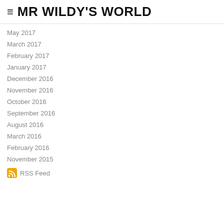MR WILDY'S WORLD
May 2017
March 2017
February 2017
January 2017
December 2016
November 2016
October 2016
September 2016
August 2016
March 2016
February 2016
November 2015
RSS Feed